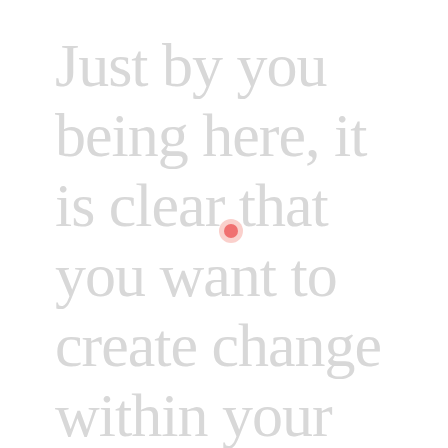Just by you being here, it is clear that you want to create change within your organization. And d
[Figure (illustration): Small pink/salmon colored circle dot overlaid on the text, positioned near the center of the page between the words 'that' and 'you want']